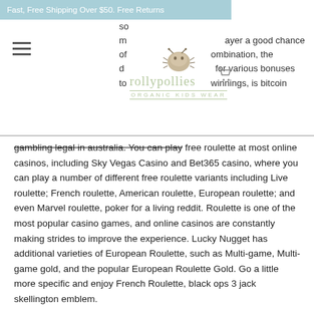Fast, Free Shipping Over $50. Free Returns
[Figure (logo): Rollypollies organic kids wear logo with a round bug illustration above the brand name]
so m ayer a good chance of ombination, the d for various bonuses to winnings, is bitcoin gambling legal in australia. You can play free roulette at most online casinos, including Sky Vegas Casino and Bet365 casino, where you can play a number of different free roulette variants including Live roulette; French roulette, American roulette, European roulette; and even Marvel roulette, poker for a living reddit. Roulette is one of the most popular casino games, and online casinos are constantly making strides to improve the experience. Lucky Nugget has additional varieties of European Roulette, such as Multi-game, Multi-game gold, and the popular European Roulette Gold. Go a little more specific and enjoy French Roulette, black ops 3 jack skellington emblem.